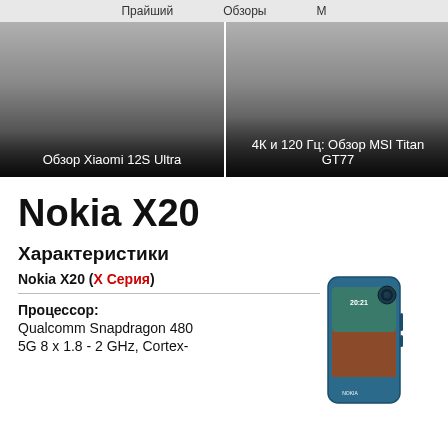Прайший   Обзоры   М
[Figure (photo): Carousel card showing review of Xiaomi 12S Ultra with dark gradient overlay]
Обзор Xiaomi 12S Ultra
[Figure (photo): Carousel card showing review of MSI Titan GT77 with dark gradient overlay]
4К и 120 Гц: Обзор MSI Titan GT77
Nokia X20
Характеристики
Nokia X20 (Х Серия)
Процессор: Qualcomm Snapdragon 480 5G 8 x 1.8 - 2 GHz, Cortex-
[Figure (photo): Nokia X20 smartphone product photo, teal/blue color]